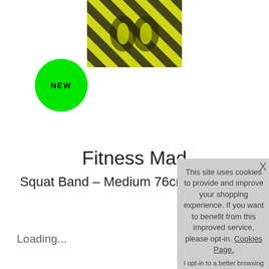[Figure (photo): Product image of Fitness Mad squat band with yellow-green and black diagonal stripe pattern]
NEW
Fitness Mad
Squat Band – Medium 76cm
Loading...
This site uses cookies to provide and improve your shopping experience. If you want to benefit from this improved service, please opt-in. Cookies Page.
I opt-in to a better browsing experience
Accept Cookies
Product Detail
Delivery & Returns